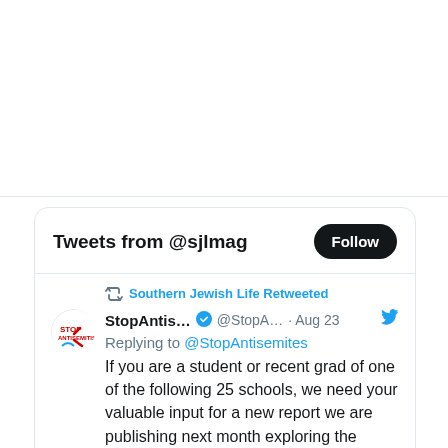[Figure (screenshot): Twitter widget embedded on a web page showing 'Tweets from @sjlmag' with a Follow button. A retweet from Southern Jewish Life shows a tweet by StopAntis... (@StopA...) on Aug 23 replying to @StopAntisemites: 'If you are a student or recent grad of one of the following 25 schools, we need your valuable input for a new report we are publishing next month exploring the safest']